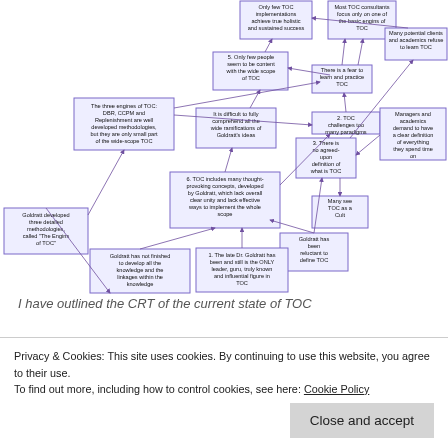[Figure (flowchart): A complex flowchart/CRT (Current Reality Tree) diagram showing interconnected causes and effects related to Theory of Constraints (TOC). Nodes include: 'Most TOC consultants focus only on one of the basic engines of TOC', 'Only few TOC implementations achieve true holistic and sustained success', 'Many potential clients and academics refuse to learn TOC', 'There is a fear to learn and practice TOC', '5. Only few people seem to be content with the wide scope of TOC', 'The three engines of TOC: DBR, CCPM and Replenishment are well developed methodologies, but they are only small part of the wide-scope TOC', '2. TOC challenges too many paradigms', 'It is difficult to fully comprehend all the wide ramifications of Goldratt's ideas', '3. There is no agreed-upon definition of what is TOC', 'Managers and academics demand to have a clear definition of everything they spend time on', '6. TOC includes many thought-provoking concepts, developed by Goldratt, which lack overall clear unity and lack effective ways to implement the whole scope', 'Many see TOC as a Cult', 'Goldratt has been reluctant to define TOC', 'Goldratt developed three detailed methodologies, called "The Engines of TOC"', 'Goldratt has not finished to develop all the knowledge and the linkages within the knowledge', '1. The late Dr. Goldratt has been and still is the ONLY leader, guru, truly known and influential figure in TOC'. Connected by arrows indicating causal relationships.]
I have outlined the CRT of the current state of TOC
Privacy & Cookies: This site uses cookies. By continuing to use this website, you agree to their use.
To find out more, including how to control cookies, see here: Cookie Policy
Close and accept